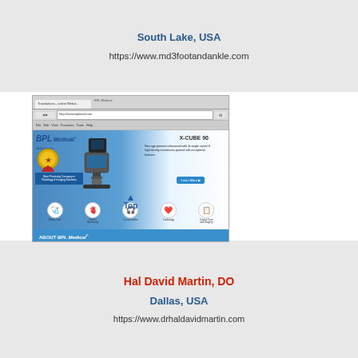South Lake, USA
https://www.md3footandankle.com
[Figure (screenshot): Screenshot of BPL Medical Technologies website showing the X-CUBE 90 ultrasound machine product page with icons for different medical categories and a 'Top' navigation arrow. Blue themed website layout.]
Hal David Martin, DO
Dallas, USA
https://www.drhaldavidmartin.com